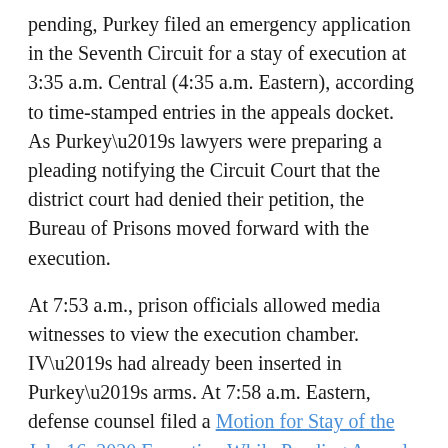pending, Purkey filed an emergency application in the Seventh Circuit for a stay of execution at 3:35 a.m. Central (4:35 a.m. Eastern), according to time-stamped entries in the appeals docket. As Purkey's lawyers were preparing a pleading notifying the Circuit Court that the district court had denied their petition, the Bureau of Prisons moved forward with the execution.
At 7:53 a.m., prison officials allowed media witnesses to view the execution chamber. IV's had already been inserted in Purkey's arms. At 7:58 a.m. Eastern, defense counsel filed a Motion for Stay of the July 16, 2020 Execution While Pending Appeal with the Seventh Circuit. By then, a chaplain in “full PPE” was praying inside the chamber. Purkey was pronounced dead at 8:19 am. Two hours later, the Circuit Court entered its final order: “Appellant’s sentence has been carried out rendering the motions and the appeal moot. Accordingly, all pending motions are DENIED and this appeal is DISMISSED as moot.”